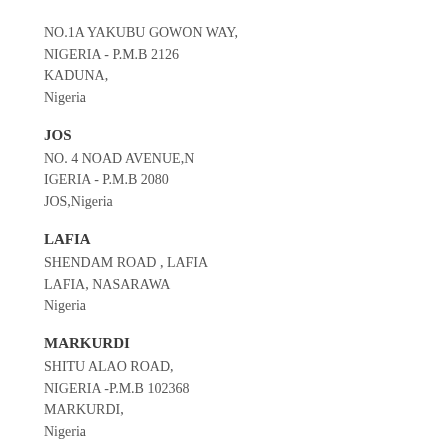NO.1A YAKUBU GOWON WAY,
NIGERIA - P.M.B 2126
KADUNA,
Nigeria
JOS
NO. 4 NOAD AVENUE,N
IGERIA - P.M.B 2080
JOS,Nigeria
LAFIA
SHENDAM ROAD , LAFIA
LAFIA, NASARAWA
Nigeria
MARKURDI
SHITU ALAO ROAD,
NIGERIA -P.M.B 102368
MARKURDI,
Nigeria